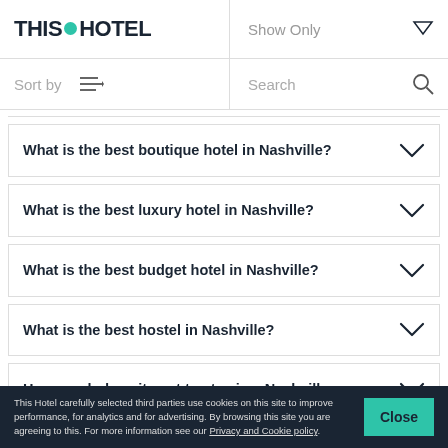THIS HOTEL — Show Only
Sort by — Search
What is the best boutique hotel in Nashville?
What is the best luxury hotel in Nashville?
What is the best budget hotel in Nashville?
What is the best hostel in Nashville?
How much does it cost to stay in a Nashville
This Hotel carefully selected third parties use cookies on this site to improve performance, for analytics and for advertising. By browsing this site you are agreeing to this. For more information see our Privacy and Cookie policy.